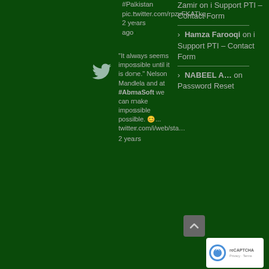#Pakistan pic.twitter.com/rpzvFKATkq 2 years ago
[Figure (logo): Twitter bird icon in gray]
"It always seems impossible until it is done." Nelson Mandela and at #AbmaSoft we can make impossible possible. 😊... twitter.com/i/web/sta… 2 years
Zamir on i Support PTI – Contact Form
Hamza Farooqi on i Support PTI – Contact Form
NABEEL A… on Password Reset
[Figure (other): reCAPTCHA badge with robot icon, Privacy and Terms links]
[Figure (other): Scroll to top button with upward arrow]